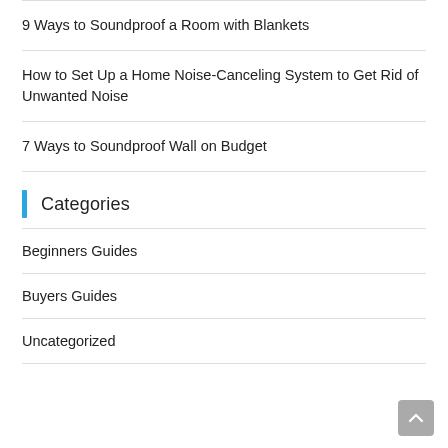9 Ways to Soundproof a Room with Blankets
How to Set Up a Home Noise-Canceling System to Get Rid of Unwanted Noise
7 Ways to Soundproof Wall on Budget
Categories
Beginners Guides
Buyers Guides
Uncategorized